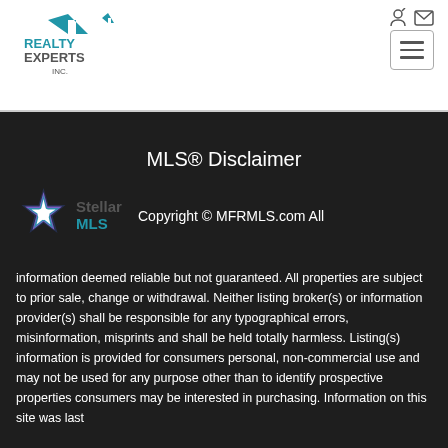[Figure (logo): Realty Experts Inc. logo with house icon in blue/teal]
[Figure (logo): Navigation icons: login and email in top right]
[Figure (other): Hamburger menu button]
MLS® Disclaimer
[Figure (logo): Stellar MLS logo with starburst icon in blue and purple, with text 'Stellar MLS']
Copyright © MFRMLS.com All information deemed reliable but not guaranteed. All properties are subject to prior sale, change or withdrawal. Neither listing broker(s) or information provider(s) shall be responsible for any typographical errors, misinformation, misprints and shall be held totally harmless. Listing(s) information is provided for consumers personal, non-commercial use and may not be used for any purpose other than to identify prospective properties consumers may be interested in purchasing. Information on this site was last